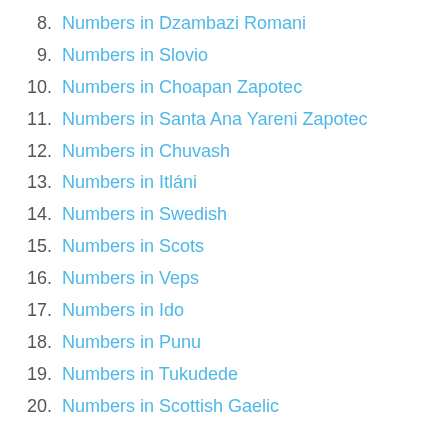8.  Numbers in Dzambazi Romani
9.  Numbers in Slovio
10. Numbers in Choapan Zapotec
11. Numbers in Santa Ana Yareni Zapotec
12. Numbers in Chuvash
13. Numbers in Itláni
14. Numbers in Swedish
15. Numbers in Scots
16. Numbers in Veps
17. Numbers in Ido
18. Numbers in Punu
19. Numbers in Tukudede
20. Numbers in Scottish Gaelic